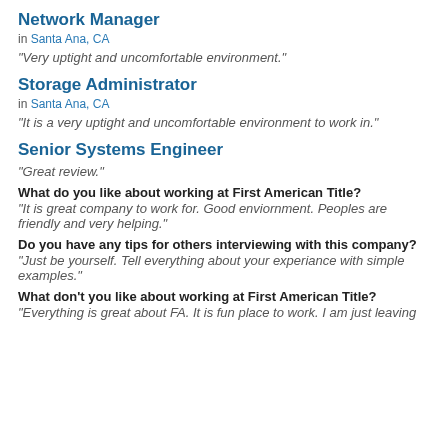Network Manager
in Santa Ana, CA
"Very uptight and uncomfortable environment."
Storage Administrator
in Santa Ana, CA
"It is a very uptight and uncomfortable environment to work in."
Senior Systems Engineer
"Great review."
What do you like about working at First American Title?
"It is great company to work for. Good enviornment. Peoples are friendly and very helping."
Do you have any tips for others interviewing with this company?
"Just be yourself. Tell everything about your experiance with simple examples."
What don't you like about working at First American Title?
"Everything is great about FA. It is fun place to work. I am just leaving